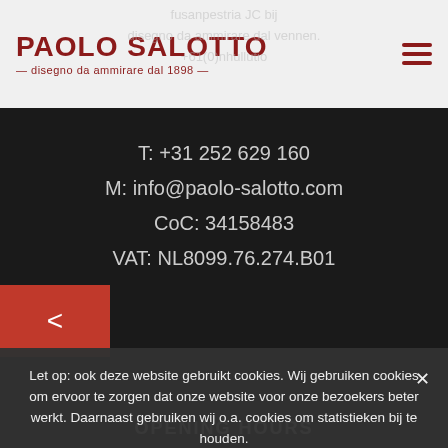PAOLO SALOTTO — disegno da ammirare dal 1898 —
T: +31 252 629 160
M: info@paolo-salotto.com
CoC: 34158483
VAT: NL8099.76.274.B01
OPENING HOURS
Let op: ook deze website gebruikt cookies. Wij gebruiken cookies om ervoor te zorgen dat onze website voor onze bezoekers beter werkt. Daarnaast gebruiken wij o.a. cookies om statistieken bij te houden.
Ok, ik heb het begrepen »